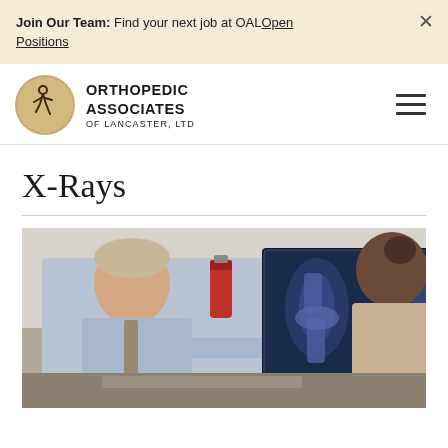Join Our Team: Find your next job at OAL Open Positions
[Figure (logo): Orthopedic Associates of Lancaster, Ltd logo — circular gold emblem with a running figure, beside text reading ORTHOPEDIC ASSOCIATES OF LANCASTER, LTD]
X-Rays
[Figure (photo): Doctor in a blue shirt and tie pointing at an X-ray image of a knee on a computer monitor, with a patient seen from behind on the right side.]